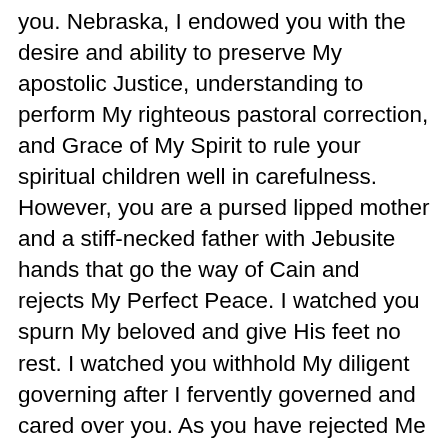you. Nebraska, I endowed you with the desire and ability to preserve My apostolic Justice, understanding to perform My righteous pastoral correction, and Grace of My Spirit to rule your spiritual children well in carefulness. However, you are a pursed lipped mother and a stiff-necked father with Jebusite hands that go the way of Cain and rejects My Perfect Peace. I watched you spurn My beloved and give His feet no rest. I watched you withhold My diligent governing after I fervently governed and cared over you. As you have rejected Me when I came to you in weakness, I reject you in your pride of human strength. Those in you, Nebraska, who will move to Me and seek My face, speak to Me. I have Time and Room for you. Thus saith the LORD who knows the hearts of men.